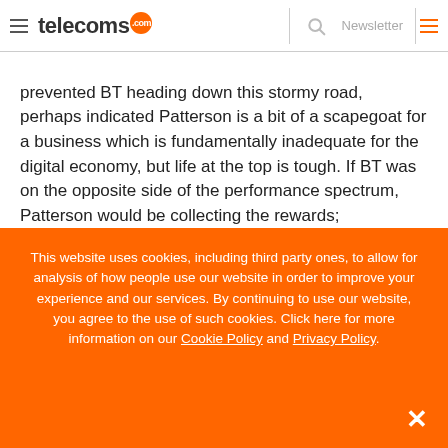telecoms.com | Newsletter
prevented BT heading down this stormy road, perhaps indicated Patterson is a bit of a scapegoat for a business which is fundamentally inadequate for the digital economy, but life at the top is tough. If BT was on the opposite side of the performance spectrum, Patterson would be collecting the rewards; unfortunately he now has to take responsibility for the failures.
This website uses cookies, including third party ones, to allow for analysis of how people use our website in order to improve your experience and our services. By continuing to use our website, you agree to the use of such cookies. Click here for more information on our Cookie Policy and Privacy Policy.